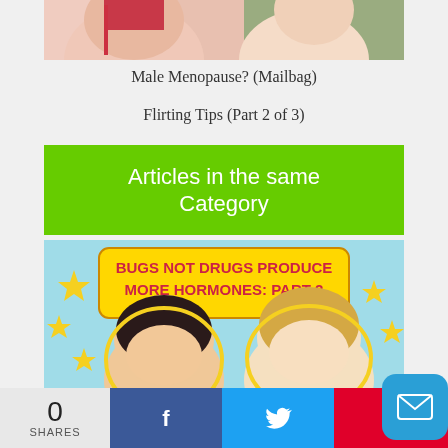[Figure (photo): Partial view of two people, one in pink and one in green top]
Male Menopause? (Mailbag)
Flirting Tips (Part 2 of 3)
Articles in the same Category
[Figure (photo): Promotional image with text 'BUGS NOT DRUGS PRODUCE MORE HORMONES: PART 2' and two people smiling, on light blue background with yellow stars]
0 SHARES with Facebook, Twitter, Pinterest share buttons